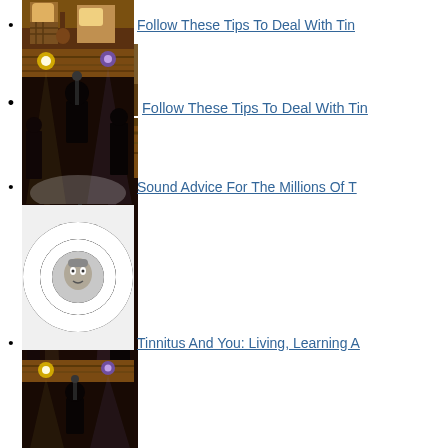Follow These Tips To Deal With Tin...
[Figure (photo): Concert performance scene with musician at microphone on stage with bright stage lights]
Sound Advice For The Millions Of T...
[Figure (illustration): Black and white optical illusion spiral with a face in the center]
Tinnitus And You: Living, Learning A...
[Figure (photo): Concert venue scene with stage lighting, similar to earlier concert photo]